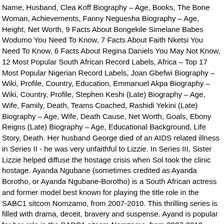Name, Husband, Clea Koff Biography – Age, Books, The Bone Woman, Achievements, Fanny Neguesha Biography – Age, Height, Net Worth, 9 Facts About Bongekile Simelane Babes Wodumo You Need To Know, 7 Facts About Faith Nketsi You Need To Know, 6 Facts About Regina Daniels You May Not Know, 12 Most Popular South African Record Labels, Africa – Top 17 Most Popular Nigerian Record Labels, Joan Gbefwi Biography – Wiki, Profile, Country, Education, Emmanuel Akpa Biography – Wiki, Country, Profile, Stephen Keshi (Late) Biography – Age, Wife, Family, Death, Teams Coached, Rashidi Yekini (Late) Biography – Age, Wife, Death Cause, Net Worth, Goals, Ebony Reigns (Late) Biography – Age, Educational Background, Life Story, Death. Her husband George died of an AIDS related illness in Series II - he was very unfaithful to Lizzie. In Series III, Sister Lizzie helped diffuse the hostage crisis when Sol took the clinic hostage. Ayanda Ngubane (sometimes credited as Ayanda Borotho, or Ayanda Ngubane-Borotho) is a South African actress and former model best known for playing the title role in the SABC1 sitcom Nomzamo, from 2007-2010. This thrilling series is filled with drama, deceit, bravery and suspense. Ayand is popular for her role in the SABC1 sitcom Nomzamo, from 2007-2010. Motjeka Madisha died with his friend after his BMW series involved in an accident. The talented actor has been in the industry for a while now and has managed to make several major appearances. read full Ayanda Ngubane Borotho Biography below..., Education: Brettonwood High School in Umlilo, KwaZulu-Natal, Maysi Ngubane, Final Form: The Queen, with a...